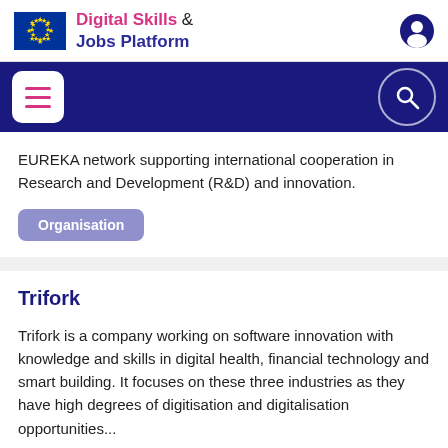Digital Skills & Jobs Platform
EUREKA network supporting international cooperation in Research and Development (R&D) and innovation.
Organisation
Trifork
Trifork is a company working on software innovation with knowledge and skills in digital health, financial technology and smart building. It focuses on these three industries as they have high degrees of digitisation and digitalisation opportunities...
Organisation